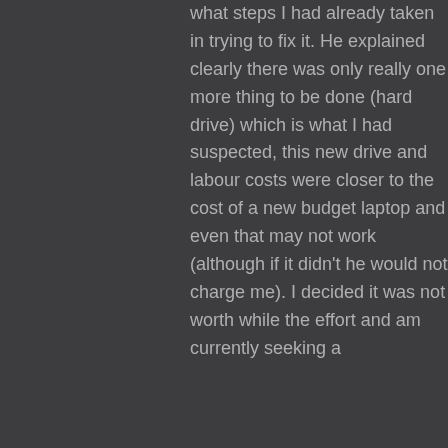what steps I had already taken in trying to fix it. He explained clearly there was only really one more thing to be done (hard drive) which is what I had suspected, this new drive and labour costs were closer to the cost of a new budget laptop and even that may not work (although if it didn't he would not charge me). I decided it was not worth while the effort and am currently seeking a